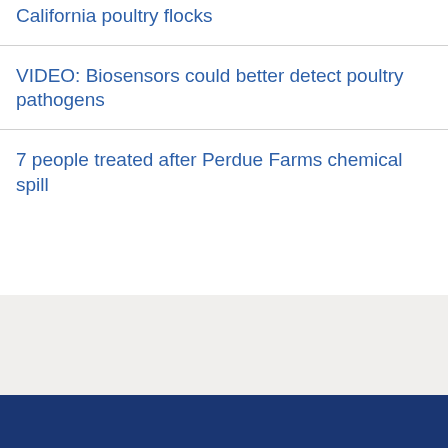Avian influenza strikes two more California poultry flocks
VIDEO: Biosensors could better detect poultry pathogens
7 people treated after Perdue Farms chemical spill